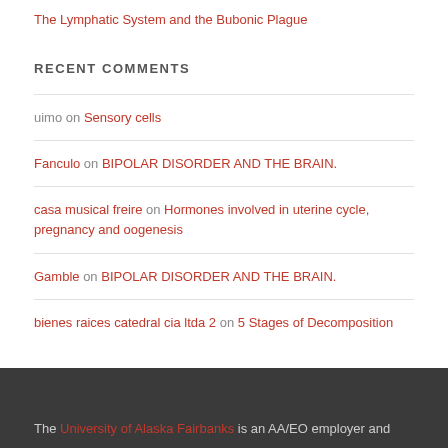The Lymphatic System and the Bubonic Plague
RECENT COMMENTS
uimo on Sensory cells
Fanculo on BIPOLAR DISORDER AND THE BRAIN.
casa musical freire on Hormones involved in uterine cycle, pregnancy and oogenesis
Gamble on BIPOLAR DISORDER AND THE BRAIN.
bienes raices catedral cia ltda 2 on 5 Stages of Decomposition
The University of Alaska Fairbanks is an AA/EO employer and